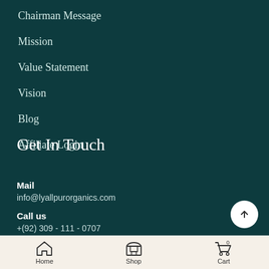Chairman Message
Mission
Value Statement
Vision
Blog
Affiliate Login
Get In Touch
Mail
info@lyallpurorganics.com
Call us
+(92) 309 - 111 - 0707
Home  Shop  Cart 0